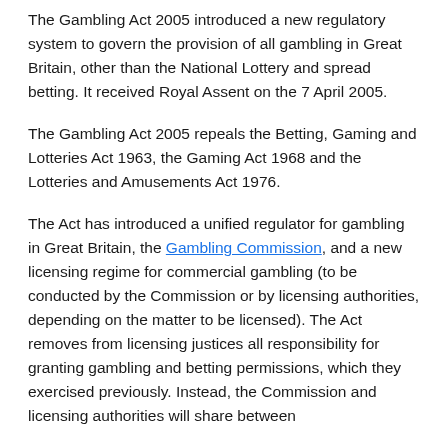The Gambling Act 2005 introduced a new regulatory system to govern the provision of all gambling in Great Britain, other than the National Lottery and spread betting. It received Royal Assent on the 7 April 2005.
The Gambling Act 2005 repeals the Betting, Gaming and Lotteries Act 1963, the Gaming Act 1968 and the Lotteries and Amusements Act 1976.
The Act has introduced a unified regulator for gambling in Great Britain, the Gambling Commission, and a new licensing regime for commercial gambling (to be conducted by the Commission or by licensing authorities, depending on the matter to be licensed). The Act removes from licensing justices all responsibility for granting gambling and betting permissions, which they exercised previously. Instead, the Commission and licensing authorities will share between